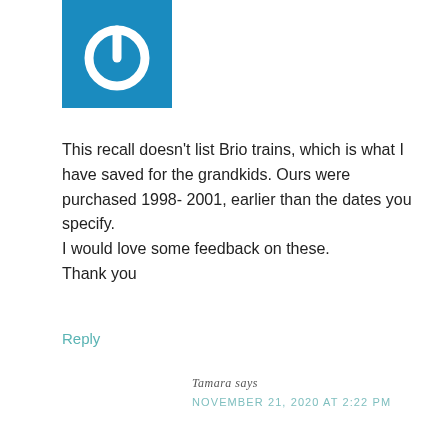[Figure (logo): Blue square icon with a white power button symbol (circle with a line at top)]
This recall doesn't list Brio trains, which is what I have saved for the grandkids. Ours were purchased 1998- 2001, earlier than the dates you specify.
I would love some feedback on these.
Thank you
Reply
Tamara says
NOVEMBER 21, 2020 AT 2:22 PM